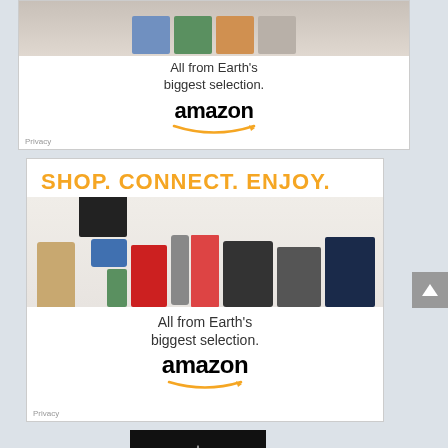[Figure (screenshot): Top Amazon advertisement showing products, tagline 'All from Earth's biggest selection.' and Amazon logo with smile]
[Figure (screenshot): Main Amazon advertisement with orange 'SHOP. CONNECT. ENJOY.' header, product images, tagline 'All from Earth's biggest selection.' and Amazon logo]
[Figure (screenshot): Corsair advertisement showing Corsair logo and brand name on black background]